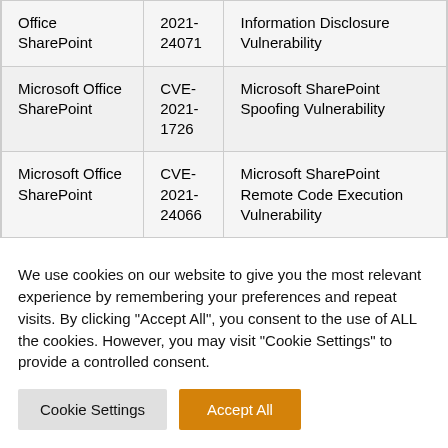| Office SharePoint | 2021-24071 | Information Disclosure Vulnerability |
| Microsoft Office SharePoint | CVE-2021-1726 | Microsoft SharePoint Spoofing Vulnerability |
| Microsoft Office SharePoint | CVE-2021-24066 | Microsoft SharePoint Remote Code Execution Vulnerability |
We use cookies on our website to give you the most relevant experience by remembering your preferences and repeat visits. By clicking "Accept All", you consent to the use of ALL the cookies. However, you may visit "Cookie Settings" to provide a controlled consent.